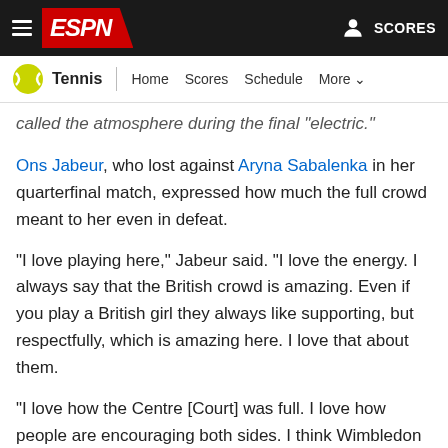ESPN - Tennis | Home  Scores  Schedule  More
called the atmosphere during the final 'electric.'
Ons Jabeur, who lost against Aryna Sabalenka in her quarterfinal match, expressed how much the full crowd meant to her even in defeat.
"I love playing here," Jabeur said. "I love the energy. I always say that the British crowd is amazing. Even if you play a British girl they always like supporting, but respectfully, which is amazing here. I love that about them.
"I love how the Centre [Court] was full. I love how people are encouraging both sides. I think Wimbledon is one of my favorite Grand Slams right now."
The Olympics recently announced it will not be allowing